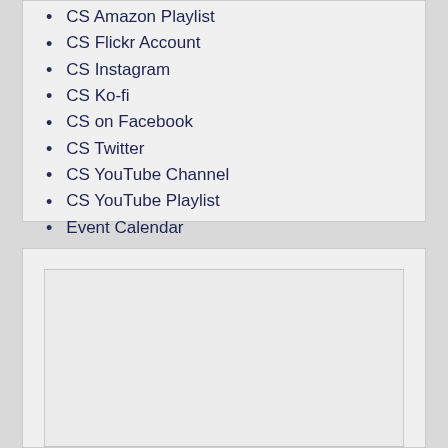CS Amazon Playlist
CS Flickr Account
CS Instagram
CS Ko-fi
CS on Facebook
CS Twitter
CS YouTube Channel
CS YouTube Playlist
Event Calendar
[Figure (other): Empty placeholder box, likely for embedded content such as a calendar widget or media embed]